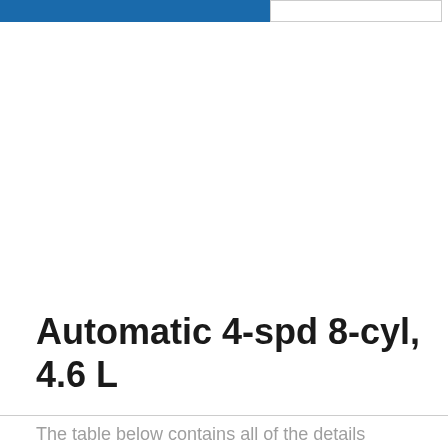Automatic 4-spd 8-cyl, 4.6 L
The table below contains all of the details